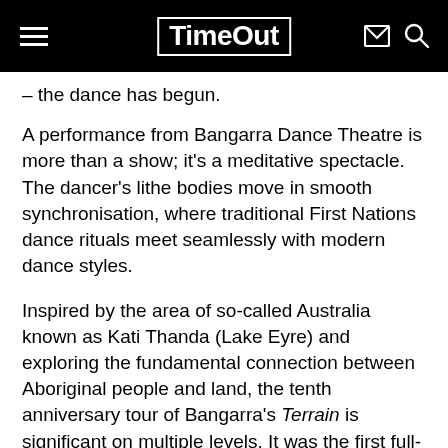TimeOut
– the dance has begun.
A performance from Bangarra Dance Theatre is more than a show; it's a meditative spectacle. The dancer's lithe bodies move in smooth synchronisation, where traditional First Nations dance rituals meet seamlessly with modern dance styles.
Inspired by the area of so-called Australia known as Kati Thanda (Lake Eyre) and exploring the fundamental connection between Aboriginal people and land, the tenth anniversary tour of Bangarra's Terrain is significant on multiple levels. It was the first full-length work choreographed by Frances Rings, who was recently announced as the successor to Stephen Page, who will